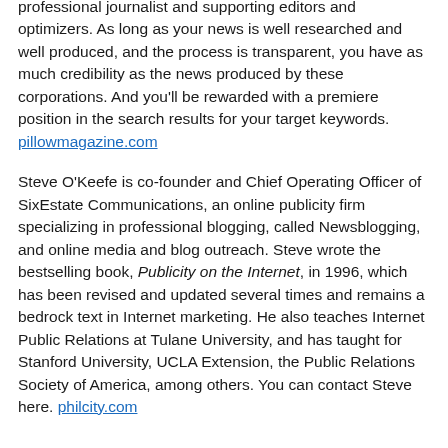professional journalist and supporting editors and optimizers. As long as your news is well researched and well produced, and the process is transparent, you have as much credibility as the news produced by these corporations. And you'll be rewarded with a premiere position in the search results for your target keywords. pillowmagazine.com
Steve O'Keefe is co-founder and Chief Operating Officer of SixEstate Communications, an online publicity firm specializing in professional blogging, called Newsblogging, and online media and blog outreach. Steve wrote the bestselling book, Publicity on the Internet, in 1996, which has been revised and updated several times and remains a bedrock text in Internet marketing. He also teaches Internet Public Relations at Tulane University, and has taught for Stanford University, UCLA Extension, the Public Relations Society of America, among others. You can contact Steve here. philcity.com